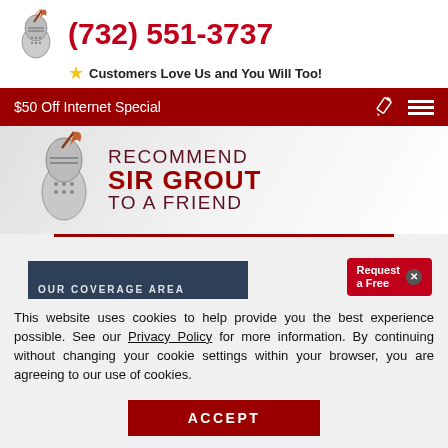[Figure (logo): Sir Grout knight mascot logo with quill pen]
(732) 551-3737
Customers Love Us and You Will Too!
$50 Off Internet Special
[Figure (illustration): Sir Grout knight mascot with text: RECOMMEND SIR GROUT TO A FRIEND]
[Figure (screenshot): Coverage area bar with Request a Free popup button]
This website uses cookies to help provide you the best experience possible. See our Privacy Policy for more information. By continuing without changing your cookie settings within your browser, you are agreeing to our use of cookies.
ACCEPT